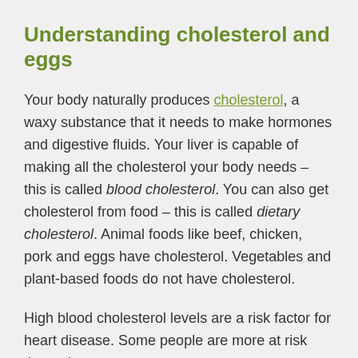Understanding cholesterol and eggs
Your body naturally produces cholesterol, a waxy substance that it needs to make hormones and digestive fluids. Your liver is capable of making all the cholesterol your body needs – this is called blood cholesterol. You can also get cholesterol from food – this is called dietary cholesterol. Animal foods like beef, chicken, pork and eggs have cholesterol. Vegetables and plant-based foods do not have cholesterol.
High blood cholesterol levels are a risk factor for heart disease. Some people are more at risk than others.